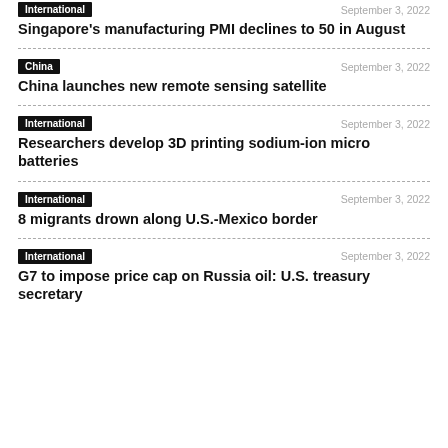International | September 3, 2022 | Singapore's manufacturing PMI declines to 50 in August
China | September 3, 2022 | China launches new remote sensing satellite
International | September 3, 2022 | Researchers develop 3D printing sodium-ion micro batteries
International | September 3, 2022 | 8 migrants drown along U.S.-Mexico border
International | September 3, 2022 | G7 to impose price cap on Russia oil: U.S. treasury secretary